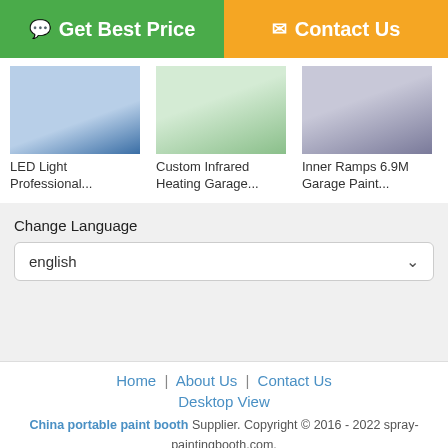[Figure (other): Green 'Get Best Price' button and orange 'Contact Us' button at top]
[Figure (photo): LED Light Professional spray paint booth interior photo]
LED Light Professional...
[Figure (photo): Custom Infrared Heating Garage spray paint booth interior photo]
Custom Infrared Heating Garage...
[Figure (photo): Inner Ramps 6.9M Garage Paint booth with car inside photo]
Inner Ramps 6.9M Garage Paint...
Change Language
english
Home | About Us | Contact Us
Desktop View
China portable paint booth Supplier. Copyright © 2016 - 2022 spray-paintingbooth.com. All rights reserved. Developed by ECER
[Figure (other): Bottom bar with Chat Now and Request A Quote buttons]